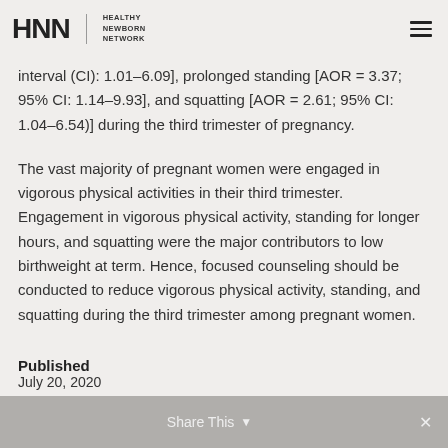HNN HEALTHY NEWBORN NETWORK
interval (CI): 1.01–6.09], prolonged standing [AOR = 3.37; 95% CI: 1.14–9.93], and squatting [AOR = 2.61; 95% CI: 1.04–6.54)] during the third trimester of pregnancy.
The vast majority of pregnant women were engaged in vigorous physical activities in their third trimester. Engagement in vigorous physical activity, standing for longer hours, and squatting were the major contributors to low birthweight at term. Hence, focused counseling should be conducted to reduce vigorous physical activity, standing, and squatting during the third trimester among pregnant women.
Published
July 20, 2020
Share This